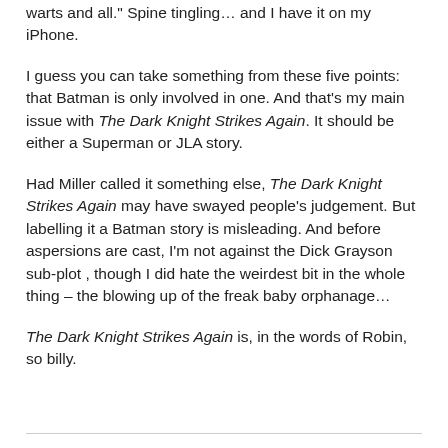warts and all." Spine tingling… and I have it on my iPhone.
I guess you can take something from these five points: that Batman is only involved in one. And that's my main issue with The Dark Knight Strikes Again. It should be either a Superman or JLA story.
Had Miller called it something else, The Dark Knight Strikes Again may have swayed people's judgement. But labelling it a Batman story is misleading. And before aspersions are cast, I'm not against the Dick Grayson sub-plot , though I did hate the weirdest bit in the whole thing – the blowing up of the freak baby orphanage…
The Dark Knight Strikes Again is, in the words of Robin, so billy.